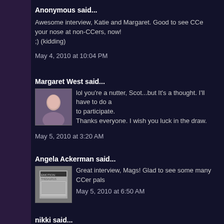Anonymous said...
Awesome interview, Katie and Margaret. Good to see CCe your nose at non-CCers, now!
;) (kidding)
May 4, 2010 at 10:04 PM
Margaret West said...
lol you're a nutter, Scot...but It's a thought. I'll have to do a to participate.
Thanks everyone. I wish you luck in the draw.
May 5, 2010 at 3:20 AM
Angela Ackerman said...
Great interview, Mags! Glad to see some many CCer pals
May 5, 2010 at 6:50 AM
nikki said...